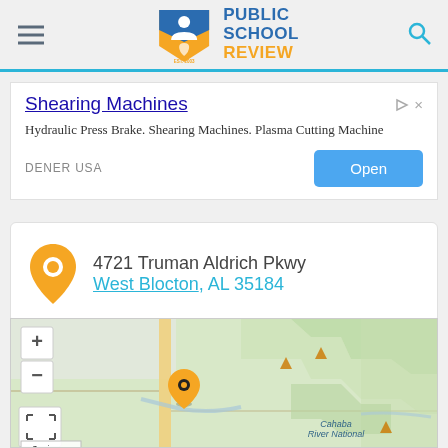[Figure (logo): Public School Review logo with hamburger menu on left and search icon on right]
[Figure (screenshot): Advertisement for Shearing Machines by DENER USA with Open button]
4721 Truman Aldrich Pkwy West Blocton, AL 35184
[Figure (map): Leaflet map showing location marker at West Blocton AL near Cahaba River National area with zoom controls and scale showing 3 mi]